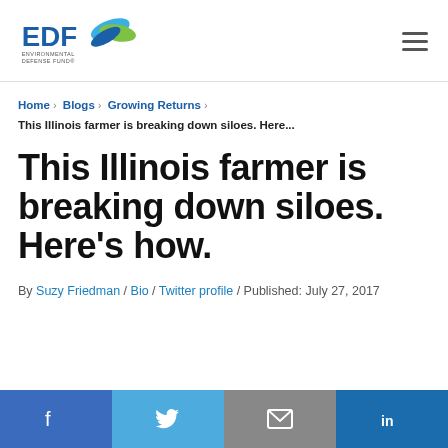[Figure (logo): EDF Environmental Defense Fund logo with blue/green leaf graphic]
EDF Environmental Defense Fund
Home › Blogs › Growing Returns › This Illinois farmer is breaking down siloes. Here...
This Illinois farmer is breaking down siloes. Here's how.
By Suzy Friedman / Bio / Twitter profile / Published: July 27, 2017
[Figure (infographic): Social sharing bar with Facebook, Twitter, Email, and LinkedIn buttons]